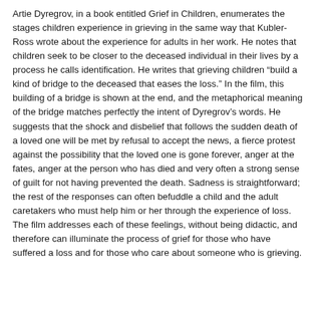Artie Dyregrov, in a book entitled Grief in Children, enumerates the stages children experience in grieving in the same way that Kubler-Ross wrote about the experience for adults in her work. He notes that children seek to be closer to the deceased individual in their lives by a process he calls identification. He writes that grieving children “build a kind of bridge to the deceased that eases the loss.” In the film, this building of a bridge is shown at the end, and the metaphorical meaning of the bridge matches perfectly the intent of Dyregrov’s words. He suggests that the shock and disbelief that follows the sudden death of a loved one will be met by refusal to accept the news, a fierce protest against the possibility that the loved one is gone forever, anger at the fates, anger at the person who has died and very often a strong sense of guilt for not having prevented the death. Sadness is straightforward; the rest of the responses can often befuddle a child and the adult caretakers who must help him or her through the experience of loss. The film addresses each of these feelings, without being didactic, and therefore can illuminate the process of grief for those who have suffered a loss and for those who care about someone who is grieving.